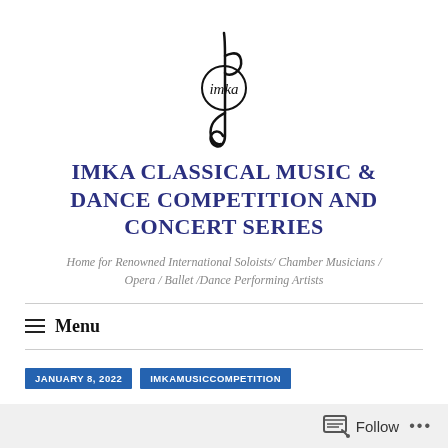[Figure (logo): IMKA treble clef logo with text 'imka' inside a circle]
IMKA CLASSICAL MUSIC & DANCE COMPETITION AND CONCERT SERIES
Home for Renowned International Soloists/ Chamber Musicians / Opera / Ballet /Dance Performing Artists
Menu
JANUARY 8, 2022
IMKAMUSICCOMPETITION